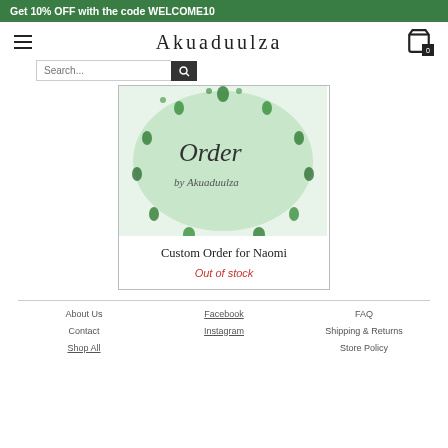Get 10% OFF with the code WELCOME10
[Figure (logo): Akuaduulza store logo text in serif font]
[Figure (photo): Product image showing a circular green gemstone jewelry piece with script text 'Order by Akuaduulza']
Custom Order for Naomi
Out of stock
About Us | Facebook | FAQ | Contact | Instagram | Shipping & Returns | Shop All | Store Policy